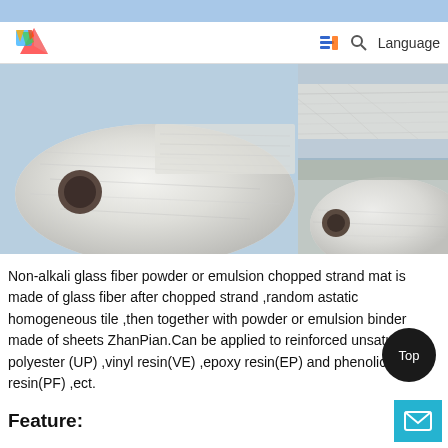Navigation bar with logo and language selector
[Figure (photo): Fiberglass chopped strand mat rolls — large roll unrolling on left, two smaller roll images on the right side stacked vertically, on a light blue background]
Non-alkali glass fiber powder or emulsion chopped strand mat is made of glass fiber after chopped strand ,random astatic homogeneous tile ,then together with powder or emulsion binder made of sheets ZhanPian.Can be applied to reinforced unsaturated polyester (UP) ,vinyl resin(VE) ,epoxy resin(EP) and phenolic resin(PF) ,ect.
Feature: